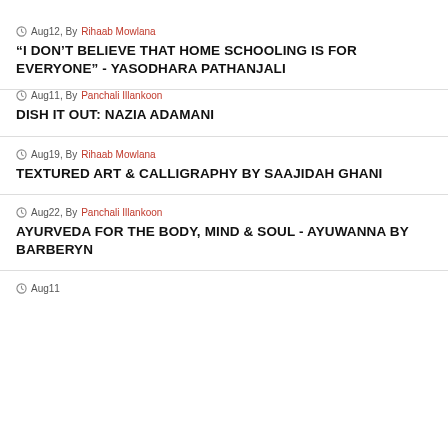Aug12, By Rihaab Mowlana
“I DON’T BELIEVE THAT HOME SCHOOLING IS FOR EVERYONE” - YASODHARA PATHANJALI
Aug11, By Panchali Illankoon
DISH IT OUT: NAZIA ADAMANI
Aug19, By Rihaab Mowlana
TEXTURED ART & CALLIGRAPHY BY SAAJIDAH GHANI
Aug22, By Panchali Illankoon
AYURVEDA FOR THE BODY, MIND & SOUL - AYUWANNA BY BARBERYN
Aug11